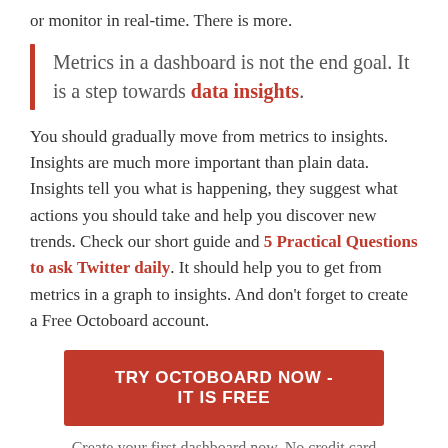or monitor in real-time. There is more.
Metrics in a dashboard is not the end goal. It is a step towards data insights.
You should gradually move from metrics to insights. Insights are much more important than plain data. Insights tell you what is happening, they suggest what actions you should take and help you discover new trends. Check our short guide and 5 Practical Questions to ask Twitter daily. It should help you to get from metrics in a graph to insights. And don't forget to create a Free Octoboard account.
TRY OCTOBOARD NOW - IT IS FREE
Create your first dashboard now. No credit card